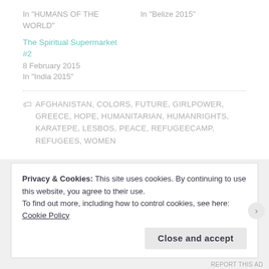In "HUMANS OF THE WORLD"
In "Belize 2015"
The Spiritual Supermarket #2
8 February 2015
In "India 2015"
AFGHANISTAN, COLORS, FUTURE, GIRLPOWER, GREECE, HOPE, HUMANITARIAN, HUMANRIGHTS, KARATEPE, LESBOS, PEACE, REFUGEECAMP, REFUGEES, WOMEN
Privacy & Cookies: This site uses cookies. By continuing to use this website, you agree to their use.
To find out more, including how to control cookies, see here: Cookie Policy
Close and accept
REPORT THIS AD